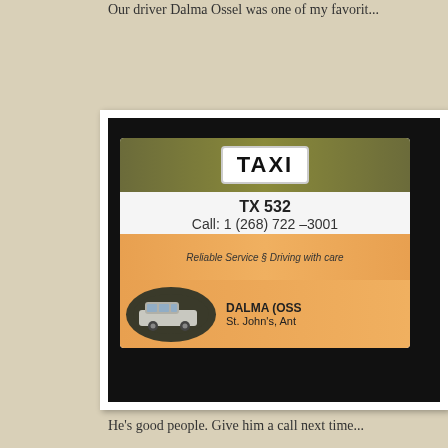Our driver Dalma Ossel was one of my favorit...
[Figure (photo): A taxi business card showing TAXI badge, TX 532, Call: 1 (268) 722-3001, Reliable Service § Driving with care, DALMA (OSS..., St. John's, Ant..., with a van car image on an oval dark background]
He's good people. Give him a call next time...
[Figure (photo): A sky photo with blue sky and clouds]